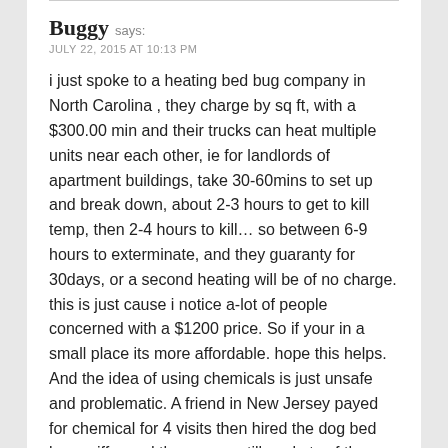Buggy says:
JULY 22, 2015 AT 10:13 PM
i just spoke to a heating bed bug company in North Carolina , they charge by sq ft, with a $300.00 min and their trucks can heat multiple units near each other, ie for landlords of apartment buildings, take 30-60mins to set up and break down, about 2-3 hours to get to kill temp, then 2-4 hours to kill… so between 6-9 hours to exterminate, and they guaranty for 30days, or a second heating will be of no charge. this is just cause i notice a-lot of people concerned with a $1200 price. So if your in a small place its more affordable. hope this helps. And the idea of using chemicals is just unsafe and problematic. A friend in New Jersey payed for chemical for 4 visits then hired the dog bed bug sniffer and there were still pockets of them after 4 chemical spraying, mind you this was a small 2 bedroom unit 800 sqft. and it all cost almost 2000.00 plus consider the possible poisoning effect